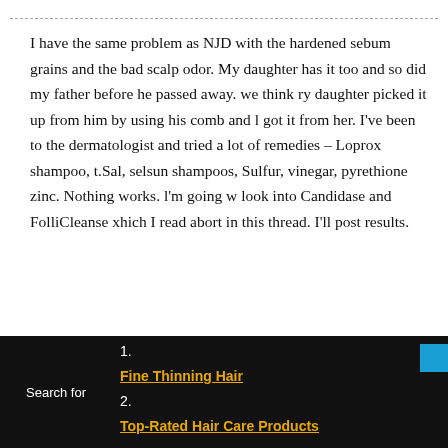I have the same problem as NJD with the hardened sebum grains and the bad scalp odor. My daughter has it too and so did my father before he passed away. we think ry daughter picked it up from him by using his comb and l got it from her. I've been to the dermatologist and tried a lot of remedies – Loprox shampoo, t.Sal, selsun shampoos, Sulfur, vinegar, pyrethione zinc. Nothing works. l'm going w look into Candidase and FolliCleanse xhich I read abort in this thread. I'll post results.
1. Fine Thinning Hair
2. Top-Rated Hair Care Products